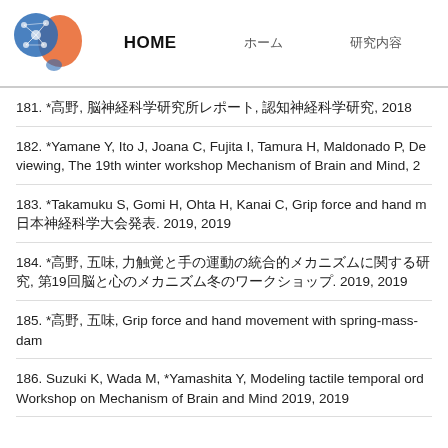HOME | ホーム | 研究内容
181. *高野, 脳神経科学研究所レポート, 認知神経科学研究, 2018
182. *Yamane Y, Ito J, Joana C, Fujita I, Tamura H, Maldonado P, De viewing, The 19th winter workshop Mechanism of Brain and Mind, 2
183. *Takamuku S, Gomi H, Ohta H, Kanai C, Grip force and hand m 日本神経科学大会発表. 2019, 2019
184. *高野, 五味, 力触覚と手の運動の統合的メカニズムに関する研究, 第19回脳と心のメカニズム冬のワークショップ. 2019, 2019
185. *高野, 五味, Grip force and hand movement with spring-mass-dam
186. Suzuki K, Wada M, *Yamashita Y, Modeling tactile temporal ord Workshop on Mechanism of Brain and Mind 2019, 2019